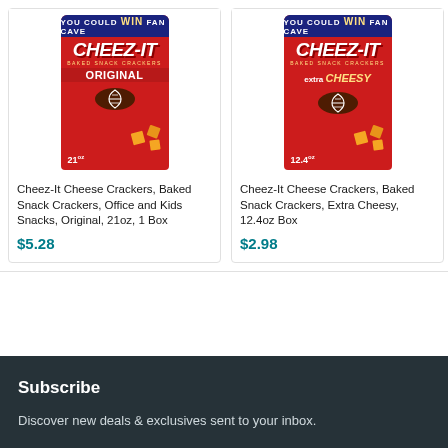[Figure (photo): Cheez-It Cheese Crackers Original 21oz box with football and crackers scattered on red background]
Cheez-It Cheese Crackers, Baked Snack Crackers, Office and Kids Snacks, Original, 21oz, 1 Box
$5.28
[Figure (photo): Cheez-It Cheese Crackers Extra Cheesy 12.4oz box with football and crackers scattered on red background]
Cheez-It Cheese Crackers, Baked Snack Crackers, Extra Cheesy, 12.4oz Box
$2.98
Subscribe
Discover new deals & exclusives sent to your inbox.